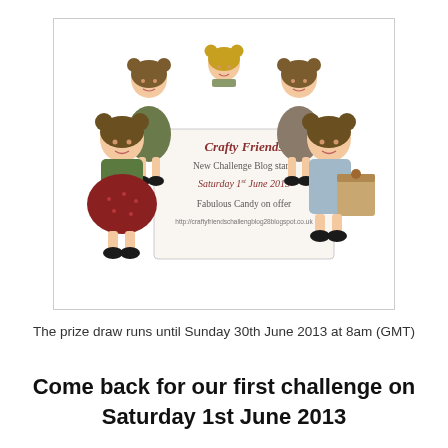[Figure (illustration): Illustration of 5 cartoon girl characters with buns/pigtails hair, in various poses and outfits, surrounding a sign that reads: Crafty Friends / New Challenge Blog starts / Saturday 1st June 2013 / Fabulous Candy on offer / http://craftyfriendschallengblog28blogspot.co.uk]
The prize draw runs until Sunday 30th June 2013 at 8am (GMT)
Come back for our first challenge on Saturday 1st June 2013